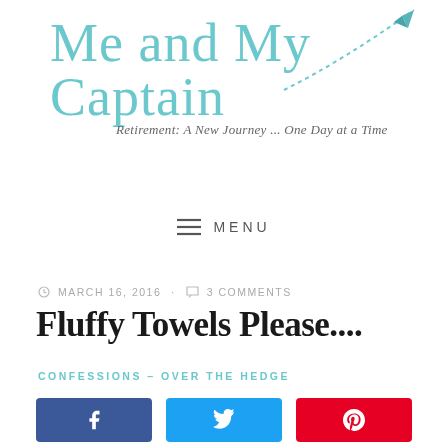[Figure (logo): Blog logo: 'Me and My Captain' in teal cursive script with tagline 'Retirement: A New Journey ... One Day at a Time' and a paper airplane graphic in teal]
≡ MENU
MARCH 16, 2016 · 3 COMMENTS
Fluffy Towels Please....
CONFESSIONS – OVER THE HEDGE
[Figure (infographic): Social share buttons: Facebook (blue), Twitter (light blue), Pinterest (red)]